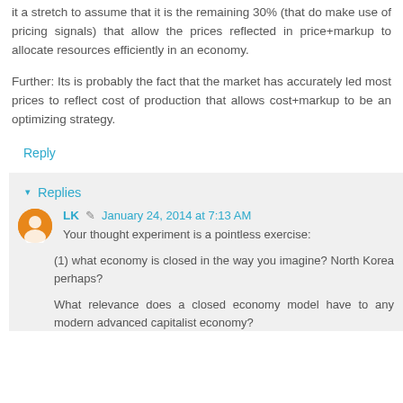it a stretch to assume that it is the remaining 30% (that do make use of pricing signals) that allow the prices reflected in price+markup to allocate resources efficiently in an economy.
Further: Its is probably the fact that the market has accurately led most prices to reflect cost of production that allows cost+markup to be an optimizing strategy.
Reply
Replies
LK  January 24, 2014 at 7:13 AM
Your thought experiment is a pointless exercise:
(1) what economy is closed in the way you imagine? North Korea perhaps?
What relevance does a closed economy model have to any modern advanced capitalist economy?